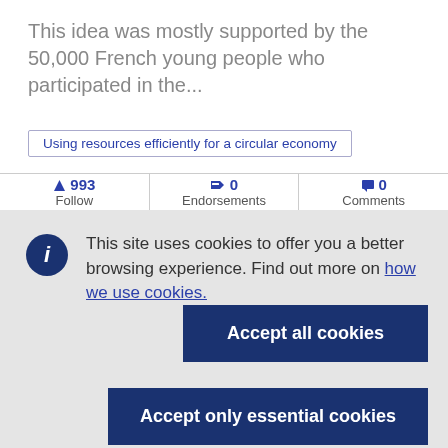This idea was mostly supported by the 50,000 French young people who participated in the...
Using resources efficiently for a circular economy
993 Follow | 0 Endorsements | 0 Comments
This site uses cookies to offer you a better browsing experience. Find out more on how we use cookies.
Accept all cookies
Accept only essential cookies